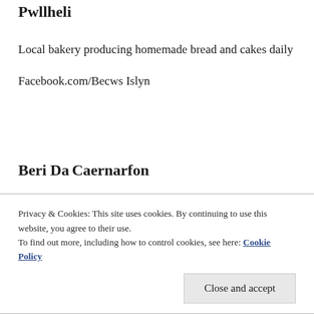Pwllheli
Local bakery producing homemade bread and cakes daily
Facebook.com/Becws Islyn
Beri Da
Caernarfon
Privacy & Cookies: This site uses cookies. By continuing to use this website, you agree to their use.
To find out more, including how to control cookies, see here: Cookie Policy
Close and accept